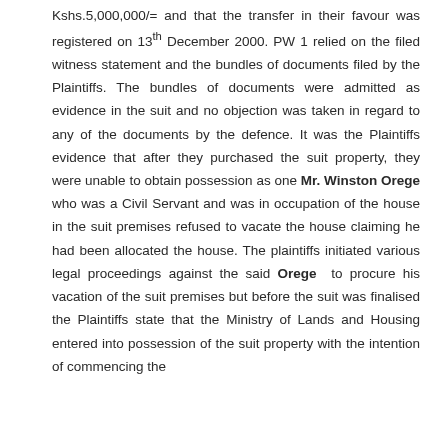Kshs.5,000,000/= and that the transfer in their favour was registered on 13th December 2000. PW 1 relied on the filed witness statement and the bundles of documents filed by the Plaintiffs. The bundles of documents were admitted as evidence in the suit and no objection was taken in regard to any of the documents by the defence. It was the Plaintiffs evidence that after they purchased the suit property, they were unable to obtain possession as one Mr. Winston Orege who was a Civil Servant and was in occupation of the house in the suit premises refused to vacate the house claiming he had been allocated the house. The plaintiffs initiated various legal proceedings against the said Orege to procure his vacation of the suit premises but before the suit was finalised the Plaintiffs state that the Ministry of Lands and Housing entered into possession of the suit property with the intention of commencing the